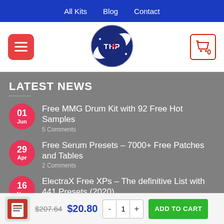All Kits  Blog  Contact
[Figure (logo): THP logo styled like NASA emblem, circular with rocket and stars]
LATEST NEWS
01 Jun — Free MMG Drum Kit with 92 Free Hot Samples — 5 Comments
29 Apr — Free Serum Presets – 7000+ Free Patches and Tables — 2 Comments
16 Nov — ElectraX Free XPs – The definitive List with 441 Presets (2020)
$207.64  $20.80  -  1  +  ADD TO CART